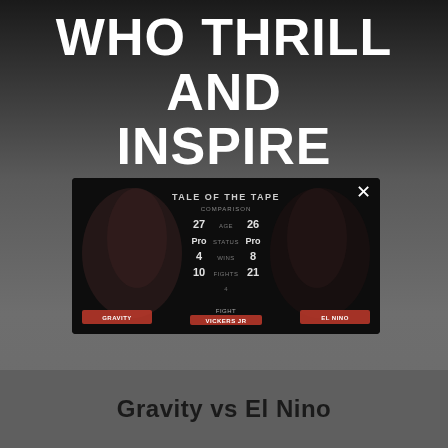WHO THRILL AND INSPIRE
[Figure (screenshot): A dark screenshot of a 'Tale of the Tape' comparison screen showing two fighters with statistics between them and a close (X) button in the top right corner.]
Gravity vs El Nino